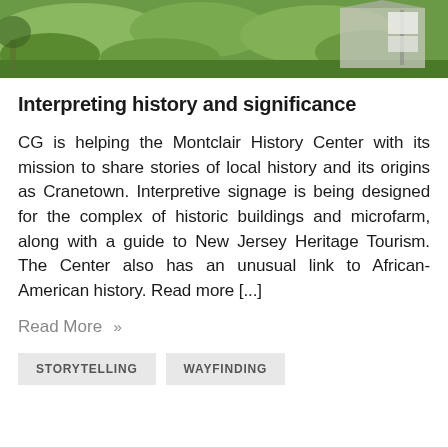[Figure (photo): Outdoor photo showing green lawn with trees and bushes, a house structure visible at right with a sign, sky partially visible at top]
Interpreting history and significance
CG is helping the Montclair History Center with its mission to share stories of local history and its origins as Cranetown. Interpretive signage is being designed for the complex of historic buildings and microfarm, along with a guide to New Jersey Heritage Tourism. The Center also has an unusual link to African-American history. Read more [...]
Read More »
STORYTELLING   WAYFINDING